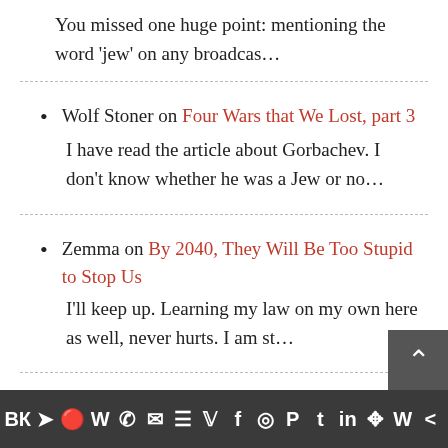You missed one huge point: mentioning the word 'jew' on any broadcas…
Wolf Stoner on Four Wars that We Lost, part 3 — I have read the article about Gorbachev. I don't know whether he was a Jew or no…
Zemma on By 2040, They Will Be Too Stupid to Stop Us — I'll keep up. Learning my law on my own here as well, never hurts. I am st…
… on Four Wars that We Lost, part …
Social sharing icons: VK, Telegram, Reddit, WordPress, WhatsApp, Email, Layers, Twitter, Facebook, Instagram, Pinterest, Tumblr, LinkedIn, Share, Wattpad, More